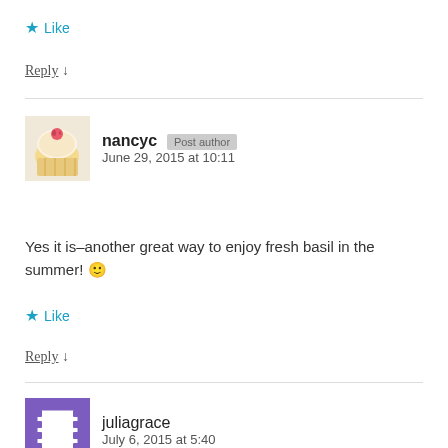★ Like
Reply ↓
nancyc [Post Author] June 29, 2015 at 10:11
Yes it is–another great way to enjoy fresh basil in the summer! 🙂
★ Like
Reply ↓
juliagrace July 6, 2015 at 5:40